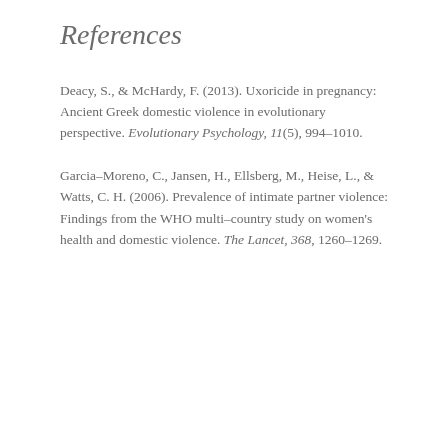References
Deacy, S., & McHardy, F. (2013). Uxoricide in pregnancy: Ancient Greek domestic violence in evolutionary perspective. Evolutionary Psychology, 11(5), 994–1010.
Garcia-Moreno, C., Jansen, H., Ellsberg, M., Heise, L., & Watts, C. H. (2006). Prevalence of intimate partner violence: Findings from the WHO multi-country study on women's health and domestic violence. The Lancet, 368, 1260–1269.